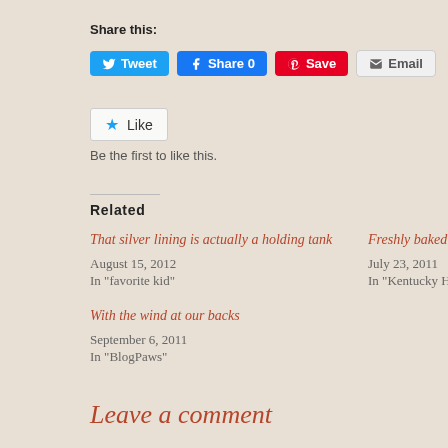Share this:
[Figure (screenshot): Social sharing buttons: Tweet (Twitter, blue), Share 0 (Facebook, blue), Save (Pinterest, red), Email (grey)]
[Figure (screenshot): Like button with star icon]
Be the first to like this.
Related
That silver lining is actually a holding tank
August 15, 2012
In "favorite kid"
Freshly baked road
July 23, 2011
In "Kentucky Hors
With the wind at our backs
September 6, 2011
In "BlogPaws"
Leave a comment